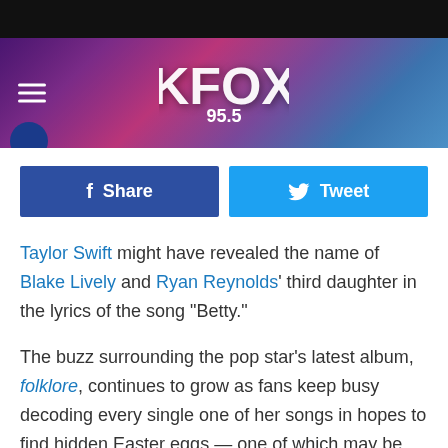[Figure (logo): KFOX 95.5 radio station banner header with purple/pink/blue geometric background and hamburger menu icon]
[Figure (infographic): Facebook Share button (dark blue) and Twitter Tweet button (light blue) side by side]
Taylor Swift might have revealed the name of Blake Lively and Ryan Reynolds' third daughter in the lyrics of the song "Betty."
The buzz surrounding the pop star's latest album, folklore, continues to grow as fans keep busy decoding every single one of her songs in hopes to find hidden Easter eggs — one of which may be Lively and Reynolds' child's name.